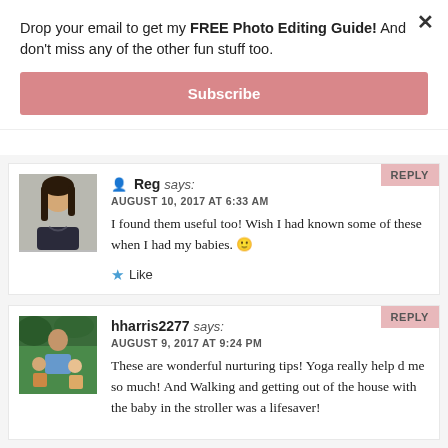Drop your email to get my FREE Photo Editing Guide! And don't miss any of the other fun stuff too.
Subscribe
REPLY
[Figure (photo): Avatar photo of Reg, a woman with long dark hair]
Reg says:
AUGUST 10, 2017 AT 6:33 AM
I found them useful too! Wish I had known some of these when I had my babies. 🙂
Like
REPLY
[Figure (photo): Avatar photo of hharris2277, a woman with children outdoors]
hharris2277 says:
AUGUST 9, 2017 AT 9:24 PM
These are wonderful nurturing tips! Yoga really help d me so much! And Walking and getting out of the house with the baby in the stroller was a lifesaver!